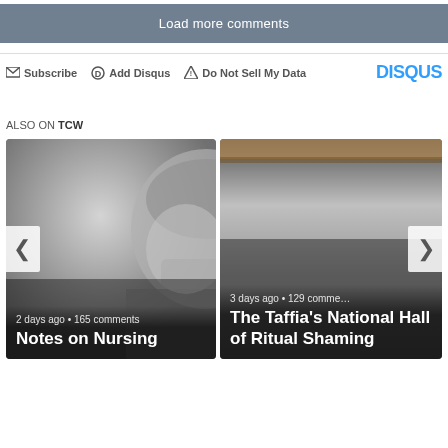Load more comments
Subscribe  Add Disqus  Do Not Sell My Data  DISQUS
ALSO ON TCW
[Figure (photo): Black and white photo of a nurse in scrubs and hair net, looking down]
2 days ago • 165 comments
Notes on Nursing
[Figure (photo): Black and white photo showing reflective surface, possibly water or metal]
3 days ago • 129 comments
The Taffia's National Hall of Ritual Shaming